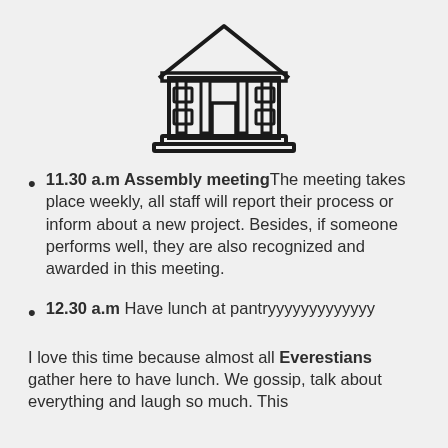[Figure (illustration): Line-art icon of a government/civic building with columns, triangular pediment, windows, and steps, drawn in black outline on light gray background]
11.30 a.m Assembly meeting The meeting takes place weekly, all staff will report their process or inform about a new project. Besides, if someone performs well, they are also recognized and awarded in this meeting.
12.30 a.m Have lunch at pantryyyyyyyyyyyyy
I love this time because almost all Everestians gather here to have lunch. We gossip, talk about everything and laugh so much. This